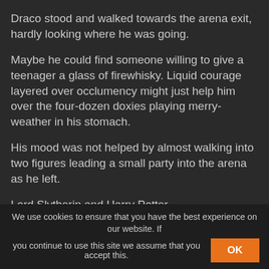Draco stood and walked towards the arena exit, hardly looking where he was going.
Maybe he could find someone willing to give a teenager a glass of firewhisky. Liquid courage layered over occlumency might just help him over the four-dozen doxies playing merry-weather in his stomach.
His mood was not helped by almost walking into two figures leading a small party into the arena as he left.
Lord Slytherin and Harry Potter.
— DP&SW: NRiCaD —
Lord Tempest watched, amused, as the boy who'd almost
We use cookies to ensure that you have the best experience on our website. If you continue to use this site we assume that you accept this.
OK